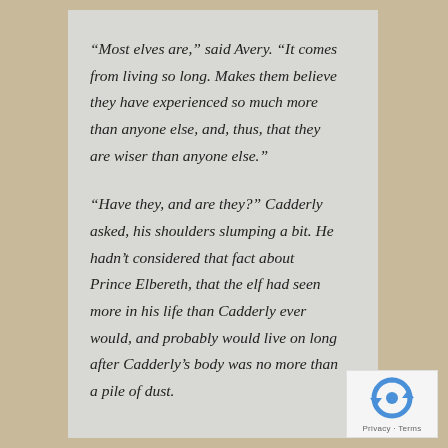“Most elves are,” said Avery. “It comes from living so long. Makes them believe they have experienced so much more than anyone else, and, thus, that they are wiser than anyone else.”
“Have they, and are they?” Cadderly asked, his shoulders slumping a bit. He hadn’t considered that fact about Prince Elbereth, that the elf had seen more in his life than Cadderly ever would, and probably would live on long after Cadderly’s body was no more than a pile of dust.
[Figure (logo): reCAPTCHA logo with Privacy and Terms text]